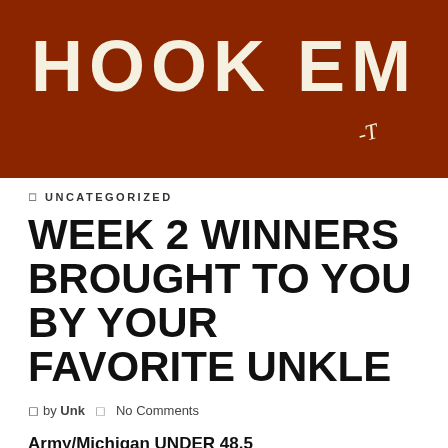[Figure (photo): Burnt orange / dark red banner with large white bold text reading 'HOOK EM' and a handwritten signature or initial below it on the right side.]
UNCATEGORIZED
WEEK 2 WINNERS BROUGHT TO YOU BY YOUR FAVORITE UNKLE
by Unk   No Comments
Army/Michigan UNDER 48.5